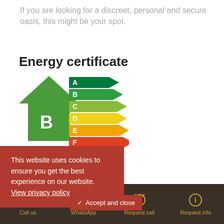If you are looking for a discreet, personal and secure oasis, this might be your spot.
Energy certificate
[Figure (infographic): Energy efficiency certificate chart showing ratings A through F with the building rated B. A house-shaped green icon with the letter B highlighted. Color-coded horizontal arrow bands: A (dark green), B (green), C (yellow-green), D (yellow), E (orange-yellow), F (orange-red).]
This website uses cookies to ensure you get the best experience on our website. View privacy policy
Call us  WhatsApp  Request call  Request info